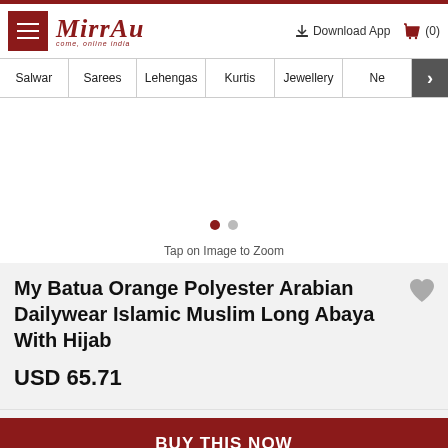MIRRAW — come, explore india | Download App | Cart (0)
Salwar | Sarees | Lehengas | Kurtis | Jewellery | Ne >
[Figure (photo): Product image area (white/blank) with two navigation dots below — one dark red (active) and one grey]
Tap on Image to Zoom
My Batua Orange Polyester Arabian Dailywear Islamic Muslim Long Abaya With Hijab
USD 65.71
BUY THIS NOW